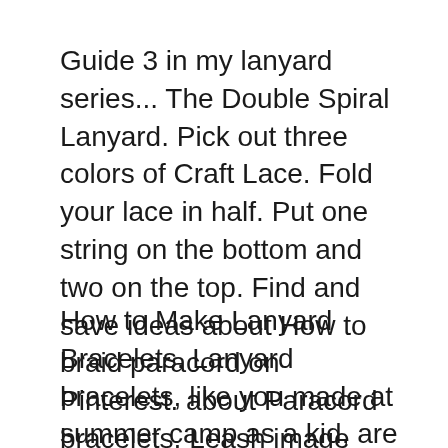Guide 3 in my lanyard series... The Double Spiral Lanyard. Pick out three colors of Craft Lace. Fold your lace in half. Put one string on the bottom and two on the top. Find and save ideas about How to braid paracord on Pinterest. about Paracord bracelets, Leash image and Image instructions. bracelets, lanyards,
How to Make Lanyard Bracelets. Lanyard bracelets, like you made at summer camp as a kid, are popping up in all sorts of stores and boutiques these days. But why buy Explore laura howard's board "plastic lace" on Pinterest. See more ideas about Gimp